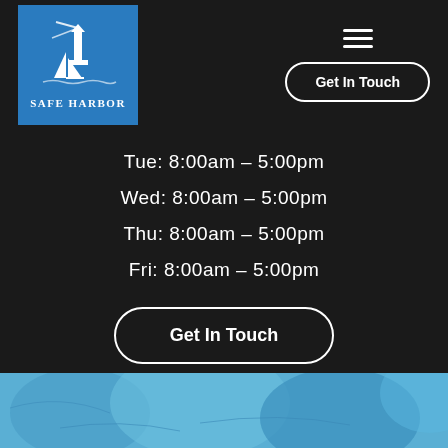[Figure (logo): Safe Harbor logo with lighthouse and sailboat on blue background]
Get In Touch
Tue: 8:00am – 5:00pm
Wed: 8:00am – 5:00pm
Thu: 8:00am – 5:00pm
Fri: 8:00am – 5:00pm
Get In Touch
[Figure (photo): Blue fabric/leather texture photo at bottom of page]